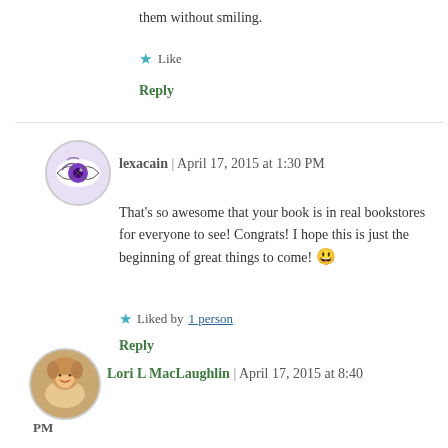them without smiling.
Like
Reply
lexacain | April 17, 2015 at 1:30 PM
That's so awesome that your book is in real bookstores for everyone to see! Congrats! I hope this is just the beginning of great things to come! 🙂
Liked by 1 person
Reply
Lori L MacLaughlin | April 17, 2015 at 8:40 PM